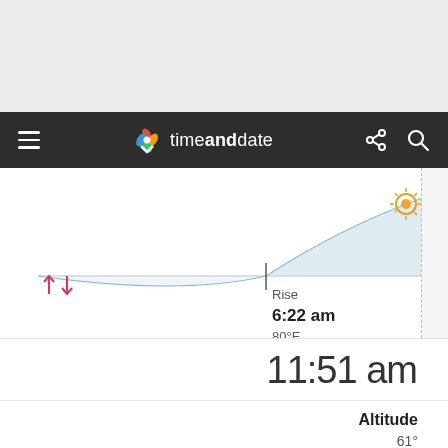[Figure (screenshot): Top gray area of a mobile browser/app screenshot]
timeanddate — navigation bar with hamburger menu, logo, share and search icons
[Figure (area-chart): Sun altitude arc chart showing sun position throughout the day with a light blue shaded area. A sun icon is at peak near the right side. Rise marker at 6:22 am, 80°E is shown with a vertical tick.]
Rise
6:22 am
80°E
11:51 am
Altitude
61°
Heading
149° SS
Position